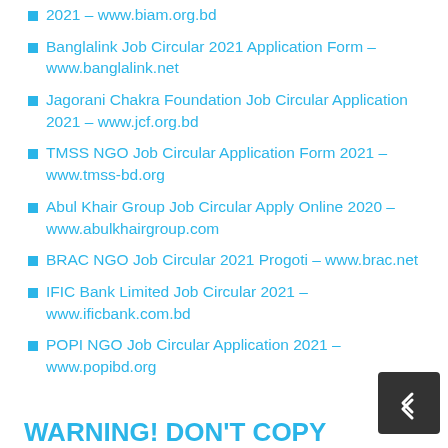2021 – www.biam.org.bd
Banglalink Job Circular 2021 Application Form – www.banglalink.net
Jagorani Chakra Foundation Job Circular Application 2021 – www.jcf.org.bd
TMSS NGO Job Circular Application Form 2021 – www.tmss-bd.org
Abul Khair Group Job Circular Apply Online 2020 – www.abulkhairgroup.com
BRAC NGO Job Circular 2021 Progoti – www.brac.net
IFIC Bank Limited Job Circular 2021 – www.ificbank.com.bd
POPI NGO Job Circular Application 2021 – www.popibd.org
WARNING! DON'T COPY